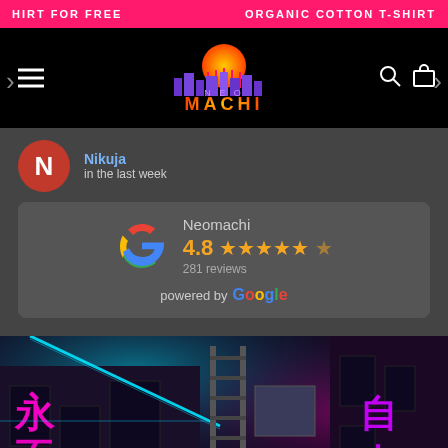HIRT FOR FREE   ORGANIC COTTON T-SHIRT
[Figure (logo): Neomachi brand logo with retro synthwave city skyline and sun on black background]
Nikuja
in the last week
Neomachi 4.8 ★★★★★ 281 reviews powered by Google
[Figure (photo): Neon-lit city street at night with Asian characters in pink and cyan neon lights on building facades and fire escape ladder]
VIP LOOT